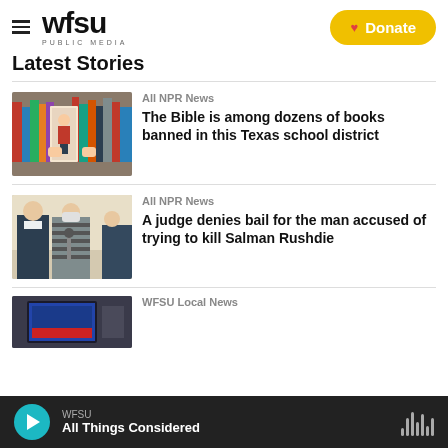WFSU PUBLIC MEDIA
Latest Stories
[Figure (photo): Person holding a book with a girl on the cover, surrounded by books]
All NPR News
The Bible is among dozens of books banned in this Texas school district
[Figure (photo): Man in striped prison jumpsuit wearing a mask next to another man in a suit]
All NPR News
A judge denies bail for the man accused of trying to kill Salman Rushdie
[Figure (photo): Partial view of a news broadcast screen]
WFSU Local News
WFSU All Things Considered